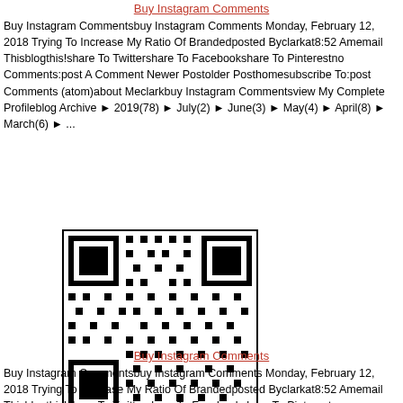Buy Instagram Comments
Buy Instagram Commentsbuy Instagram Comments Monday, February 12, 2018 Trying To Increase My Ratio Of Brandedposted Byclarkat8:52 Amemail Thisblogthis!share To Twittershare To Facebookshare To Pinterestno Comments:post A Comment Newer Postolder Posthomesubscribe To:post Comments (atom)about Meclarkbuy Instagram Commentsview My Complete Profileblog Archive ► 2019(78) ► July(2) ► June(3) ► May(4) ► April(8) ► March(6) ► ...
[Figure (other): QR code image]
Buy Instagram Comments
Buy Instagram Commentsbuy Instagram Comments Monday, February 12, 2018 Trying To Increase My Ratio Of Brandedposted Byclarkat8:52 Amemail Thisblogthis!share To Twittershare To Facebookshare To Pinterestno Comments:post A Comment Newer Postolder Posthomesubscribe To:post Comments (atom)about Meclarkbuy Instagram Commentsview My Complete Profileblog Archive ► 2019(78) ► July(2) ► June(3) ► May(4) ► April(8) ► March(6) ► ...
[Figure (other): QR code image]